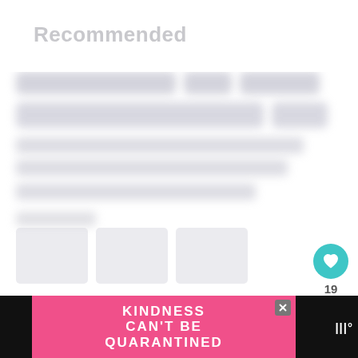Recommended
[Figure (screenshot): Blurred/redacted webpage content showing recommended articles with obscured text]
[Figure (infographic): Heart like button (teal circle with heart icon), like count of 19, and share button (white circle with share icon)]
[Figure (screenshot): What's Next panel with label 'WHAT'S NEXT →', thumbnail image of person, and text '*That* Susan Williams Ha...']
[Figure (infographic): Advertisement banner with pink background, text 'KINDNESS CAN'T BE QUARANTINED' in white, close (X) button, and brand logo on black background]